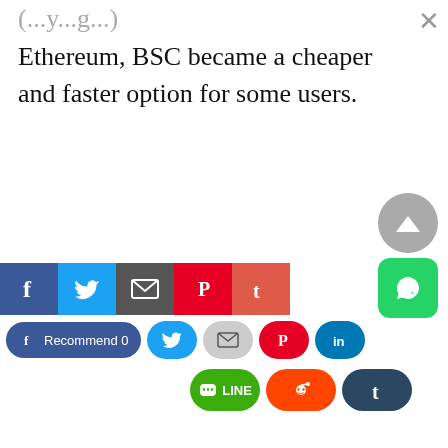(...y...g...) Ethereum, BSC became a cheaper and faster option for some users.
[Figure (infographic): Social media share buttons bar including Facebook Recommend, Twitter, Email, Pinterest, LinkedIn, LINE, Reddit, Tumblr icons. Also a scroll-to-top button and WhatsApp floating button.]